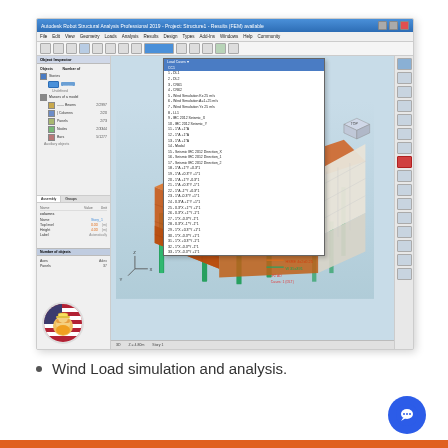[Figure (screenshot): Autodesk Robot Structural Analysis Professional 2019 - 3D structural model of a building with load case dropdown menu open, showing object inspector on left panel with beams, columns, panels, nodes, bars and auxiliary objects listed. The 3D viewport shows an orange steel frame structure on blue-gray background with green columns. A dropdown menu lists various load cases and wind simulations. Legend in bottom right shows HSRE 4x2x0.25 and W 35x391 member types, with FZ AD Cases:1 (DLT) annotation.]
Wind Load simulation and analysis.